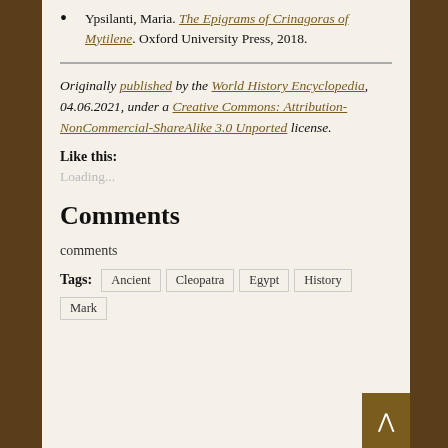Ypsilanti, Maria. The Epigrams of Crinagoras of Mytilene. Oxford University Press, 2018.
Originally published by the World History Encyclopedia, 04.06.2021, under a Creative Commons: Attribution-NonCommercial-ShareAlike 3.0 Unported license.
Like this:
Loading...
Comments
comments
Tags: Ancient Cleopatra Egypt History Mark